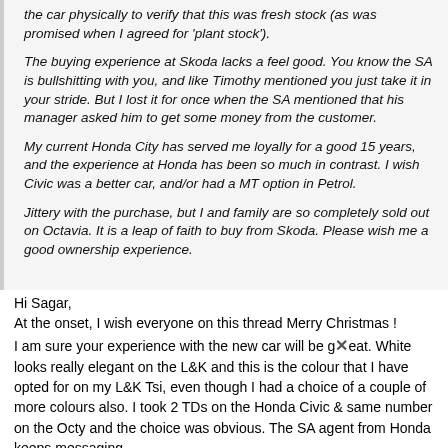the car physically to verify that this was fresh stock (as was promised when I agreed for 'plant stock').
The buying experience at Skoda lacks a feel good. You know the SA is bullshitting with you, and like Timothy mentioned you just take it in your stride. But I lost it for once when the SA mentioned that his manager asked him to get some money from the customer.
My current Honda City has served me loyally for a good 15 years, and the experience at Honda has been so much in contrast. I wish Civic was a better car, and/or had a MT option in Petrol.
Jittery with the purchase, but I and family are so completely sold out on Octavia. It is a leap of faith to buy from Skoda. Please wish me a good ownership experience.
Hi Sagar, At the onset, I wish everyone on this thread Merry Christmas ! I am sure your experience with the new car will be great. White looks really elegant on the L&K and this is the colour that I have opted for on my L&K Tsi, even though I had a choice of a couple of more colours also. I took 2 TDs on the Honda Civic & same number on the Octy and the choice was obvious. The SA agent from Honda keeps messaging